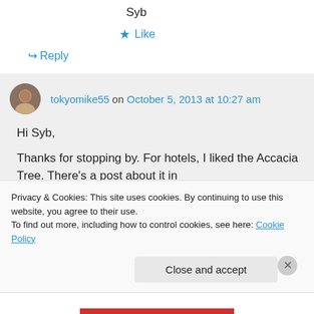Syb
★ Like
↪ Reply
tokyomike55 on October 5, 2013 at 10:27 am
Hi Syb,

Thanks for stopping by. For hotels, I liked the Accacia Tree. There's a post about it in
Privacy & Cookies: This site uses cookies. By continuing to use this website, you agree to their use.
To find out more, including how to control cookies, see here: Cookie Policy
Close and accept